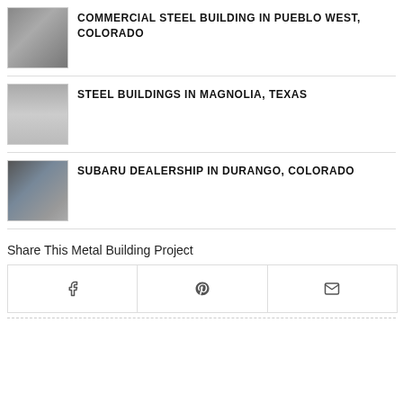COMMERCIAL STEEL BUILDING IN PUEBLO WEST, COLORADO
STEEL BUILDINGS IN MAGNOLIA, TEXAS
SUBARU DEALERSHIP IN DURANGO, COLORADO
Share This Metal Building Project
[Figure (other): Social share buttons: Facebook, Pinterest, Email]